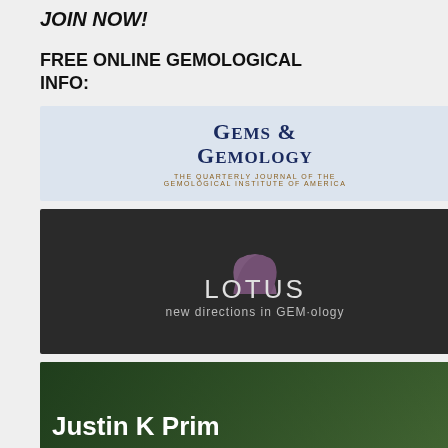JOIN NOW!
FREE ONLINE GEMOLOGICAL INFO:
[Figure (logo): Gems & Gemology - The Quarterly Journal of the Gemological Institute of America advertisement banner]
[Figure (logo): LOTUS - new directions in GEM-ology advertisement banner with lotus flower on dark background]
[Figure (logo): Justin K Prim - Magus Gems Wizard Gemcutter: Seeker of Sacred Sites, Stones and Songs advertisement banner]
[Figure (logo): GemLab.UK advertisement banner with colorful striped text]
View active topics
|  | Topics | Author |
| --- | --- | --- |
|  |  | Display p |
Page 1 of 1 [ Search found 0 matches ]
Board index
Jump to:  Select a forum
Powered by p Gemology